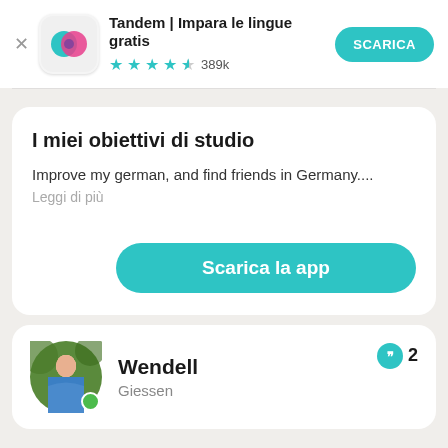[Figure (screenshot): App store banner for Tandem language learning app with icon, name, star rating, and download button]
I miei obiettivi di studio
Improve my german, and find friends in Germany....
Leggi di più
Scarica la app
[Figure (photo): Profile photo of Wendell from Giessen with green online status dot and message count badge showing 2]